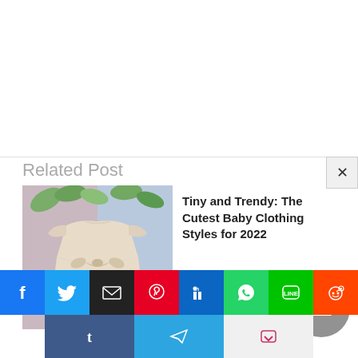[Figure (screenshot): White banner/ad area at the top of the page]
Related Post
[Figure (photo): A baby dress - cream/beige frilly dress with bow on a pink and blue background with eucalyptus leaves]
Tiny and Trendy: The Cutest Baby Clothing Styles for 2022
[Figure (infographic): Social share buttons bar: Facebook, Twitter, Email, Pinterest, LinkedIn, WhatsApp, LINE, Reddit, Tumblr, Telegram, Pocket]